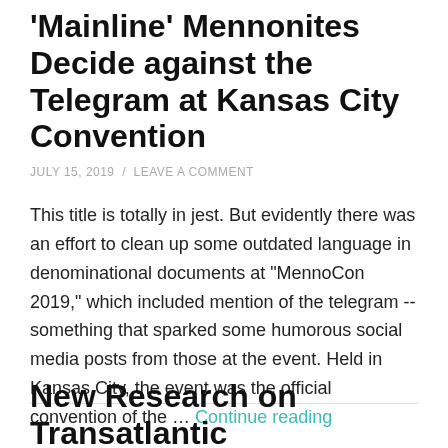'Mainline' Mennonites Decide against the Telegram at Kansas City Convention
JULY 15, 2019 / LEAVE A COMMENT
This title is totally in jest. But evidently there was an effort to clean up some outdated language in denominational documents at "MennoCon 2019," which included mention of the telegram -- something that sparked some humorous social media posts from those at the event. Held in Kansas City, the event was the official convention of the … Continue reading
New Research on Transatlantic